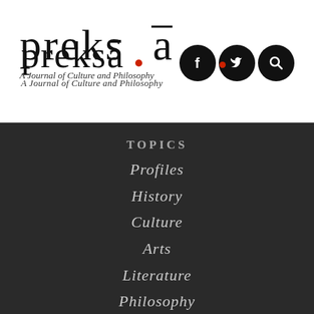prekṣa — A Journal of Culture and Philosophy
[Figure (logo): Three black circular social media icons: Facebook (f), Twitter (bird), and Search (magnifying glass)]
TOPICS
Profiles
History
Culture
Arts
Literature
Philosophy
Epics